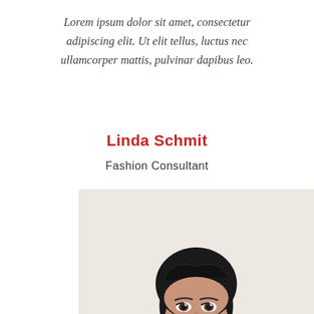Lorem ipsum dolor sit amet, consectetur adipiscing elit. Ut elit tellus, luctus nec ullamcorper mattis, pulvinar dapibus leo.
Linda Schmit
Fashion Consultant
[Figure (photo): Professional headshot of a middle-aged woman with short dark hair, wearing a navy blue sleeveless dress, smiling, against a light beige/cream background.]